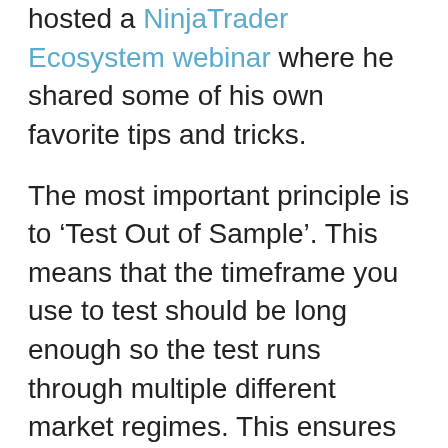hosted a NinjaTrader Ecosystem webinar where he shared some of his own favorite tips and tricks.
The most important principle is to ‘Test Out of Sample’. This means that the timeframe you use to test should be long enough so the test runs through multiple different market regimes. This ensures you can see how the strategy performs in a bull market vs. a bear market, in high volatility vs. low, etc. Amaral said that there is no ‘set in stone’ amount of time that you should use to test your strategies, but it should